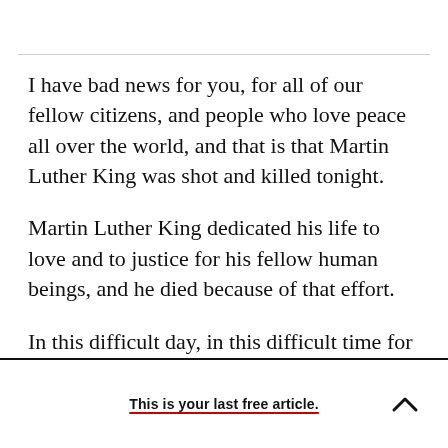I have bad news for you, for all of our fellow citizens, and people who love peace all over the world, and that is that Martin Luther King was shot and killed tonight.
Martin Luther King dedicated his life to love and to justice for his fellow human beings, and he died because of that effort.
In this difficult day, in this difficult time for the
This is your last free article.